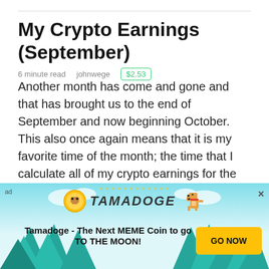My Crypto Earnings (September)
6 minute read   johnwege   $2.53
Another month has come and gone and that has brought us to the end of September and now beginning October.  This also once again means that it is my favorite time of the month; the time that I calculate all of my crypto earnings for the month.  This...
[Figure (screenshot): Yellow advertisement banner with blue outlined box at bottom]
[Figure (infographic): Tamadoge advertisement overlay with cyan sky background, tree silhouettes, Tamadoge coin logo, dog pixel art, and 'GO NOW' button. Text: 'Tamadoge - The Next MEME Coin to go TO THE MOON!']